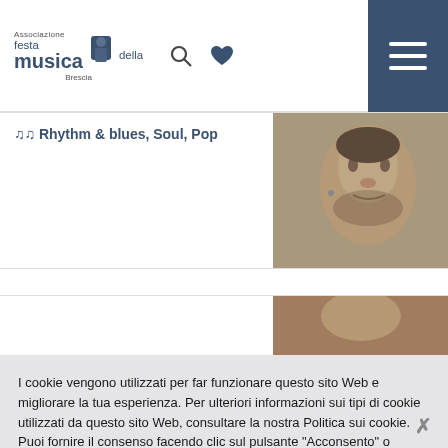Associazione Festa della musica Brescia
♪♪ Rhythm & blues, Soul, Pop
[Figure (photo): Close-up portrait photo of a man with beard and earring, black and white tones]
[Figure (photo): Partial photo image, second card strip]
I cookie vengono utilizzati per far funzionare questo sito Web e migliorare la tua esperienza. Per ulteriori informazioni sui tipi di cookie utilizzati da questo sito Web, consultare la nostra Politica sui cookie. Puoi fornire il consenso facendo clic sul pulsante "Acconsento" o annullando la presente informativa sui cookie.
Leggi la politica sui Cookie
Accetto
Gestisci i Cookies